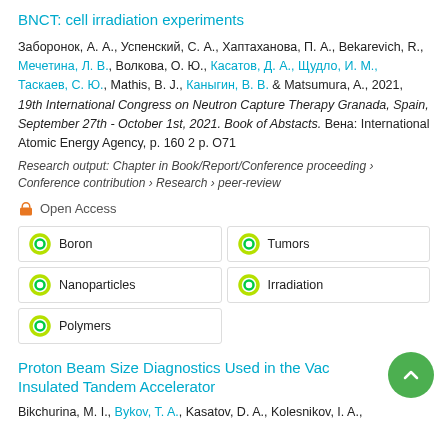BNCT: cell irradiation experiments
Заборонок, А. А., Успенский, С. А., Хаптаханова, П. А., Bekarevich, R., Мечетина, Л. В., Волкова, О. Ю., Касатов, Д. А., Щудло, И. М., Таскаев, С. Ю., Mathis, B. J., Каныгин, В. В. & Matsumura, A., 2021, 19th International Congress on Neutron Capture Therapy Granada, Spain, September 27th - October 1st, 2021. Book of Abstacts. Вена: International Atomic Energy Agency, p. 160 2 p. O71
Research output: Chapter in Book/Report/Conference proceeding › Conference contribution › Research › peer-review
Open Access
Boron
Tumors
Nanoparticles
Irradiation
Polymers
Proton Beam Size Diagnostics Used in the Vacuum Insulated Tandem Accelerator
Bikchurina, M. I., Bykov, T. A., Kasatov, D. A., Kolesnikov, I. A.,